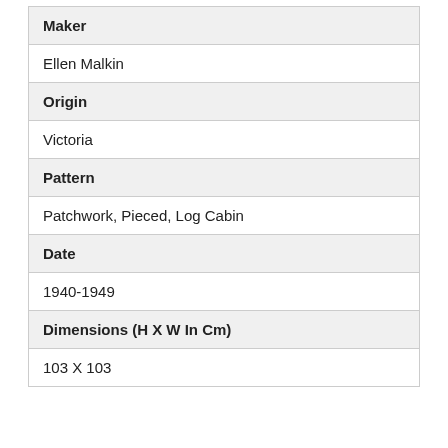| Maker |
| Ellen Malkin |
| Origin |
| Victoria |
| Pattern |
| Patchwork, Pieced, Log Cabin |
| Date |
| 1940-1949 |
| Dimensions (H X W In Cm) |
| 103 X 103 |